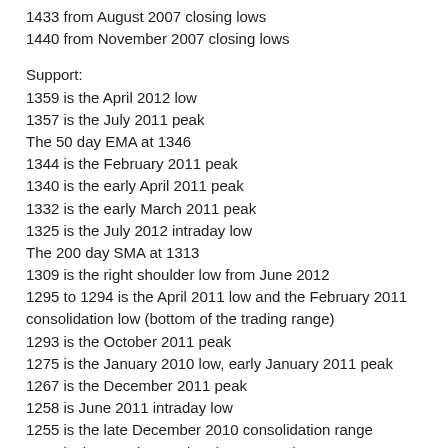1433 from August 2007 closing lows
1440 from November 2007 closing lows
Support:
1359 is the April 2012 low
1357 is the July 2011 peak
The 50 day EMA at 1346
1344 is the February 2011 peak
1340 is the early April 2011 peak
1332 is the early March 2011 peak
1325 is the July 2012 intraday low
The 200 day SMA at 1313
1309 is the right shoulder low from June 2012
1295 to 1294 is the April 2011 low and the February 2011 consolidation low (bottom of the trading range)
1293 is the October 2011 peak
1275 is the January 2010 low, early January 2011 peak
1267 is the December 2011 peak
1258 is June 2011 intraday low
1255 is the late December 2010 consolidation range
1249 is the March 2011 low (post-Japan)
1235 is the mid-December 2010 consolidation low